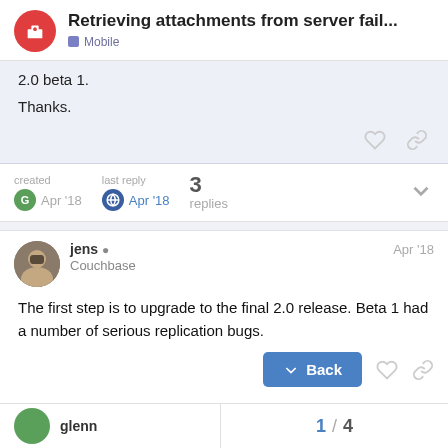Retrieving attachments from server fail... | Mobile
2.0 beta 1.

Thanks.
created Apr '18  last reply Apr '18  3 replies
jens  Couchbase  Apr '18
The first step is to upgrade to the final 2.0 release. Beta 1 had a number of serious replication bugs.
glenn
1 / 4